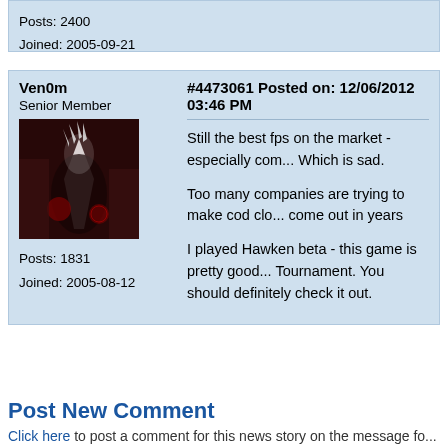Posts: 2400
Joined: 2005-09-21
Ven0m
Senior Member
Posts: 1831
Joined: 2005-08-12
#4473061 Posted on: 12/06/2012 03:46 PM
Still the best fps on the market - especially com... Which is sad.

Too many companies are trying to make cod clo... come out in years

I played Hawken beta - this game is pretty good... Tournament. You should definitely check it out.
Post New Comment
Click here to post a comment for this news story on the message fo...